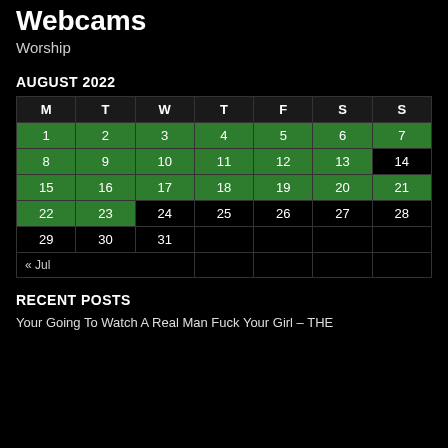Webcams
Worship
AUGUST 2022
| M | T | W | T | F | S | S |
| --- | --- | --- | --- | --- | --- | --- |
| 1 | 2 | 3 | 4 | 5 | 6 | 7 |
| 8 | 9 | 10 | 11 | 12 | 13 | 14 |
| 15 | 16 | 17 | 18 | 19 | 20 | 21 |
| 22 | 23 | 24 | 25 | 26 | 27 | 28 |
| 29 | 30 | 31 |  |  |  |  |
| « Jul |  |  |  |  |  |  |
RECENT POSTS
Your Going To Watch A Real Man Fuck Your Girl – THE